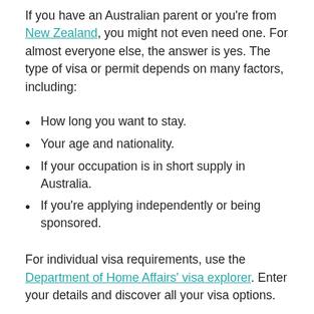If you have an Australian parent or you're from New Zealand, you might not even need one. For almost everyone else, the answer is yes. The type of visa or permit depends on many factors, including:
How long you want to stay.
Your age and nationality.
If your occupation is in short supply in Australia.
If you're applying independently or being sponsored.
For individual visa requirements, use the Department of Home Affairs' visa explorer. Enter your details and discover all your visa options.
Applying for an Australian work visa for skilled workers